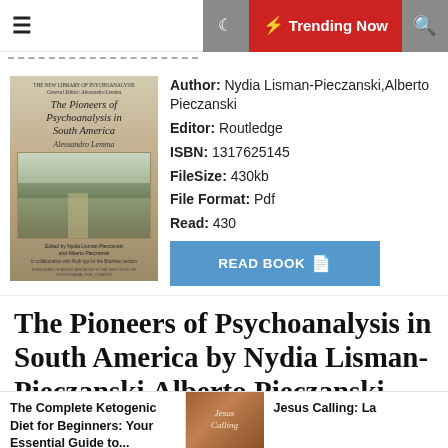≡  ☽  ⚡ Trending Now  🔍
[Figure (photo): Book cover of 'The Pioneers of Psychoanalysis in South America' from The New Library of Psychoanalysis series, edited by Alessandro Lemma, with a sepia-toned landscape photograph]
Author: Nydia Lisman-Pieczanski,Alberto Pieczanski
Editor: Routledge
ISBN: 1317625145
FileSize: 430kb
File Format: Pdf
Read: 430
The Pioneers of Psychoanalysis in South America by Nydia Lisman-Pieczanski,Alberto Pieczanski Summary
The Complete Ketogenic Diet for Beginners: Your Essential Guide to...
Jesus Calling: La